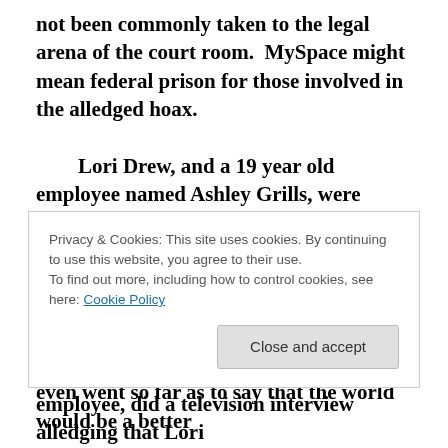not been commonly taken to the legal arena of the court room.  MySpace might mean federal prison for those involved in the alledged hoax.

Lori Drew, and a 19 year old employee named Ashley Grills, were allegedly involved in creating a MySpace profile of a young man named “Josh Evans” who contacted Megan and initiated a online relationship.  MySpace is a social networking site.  As time went on, “Josh” became abusive online and even went so far as to say that the world would be a better
Privacy & Cookies: This site uses cookies. By continuing to use this website, you agree to their use.
To find out more, including how to control cookies, see here: Cookie Policy
Close and accept
employee, did a television interview alledging that Lori